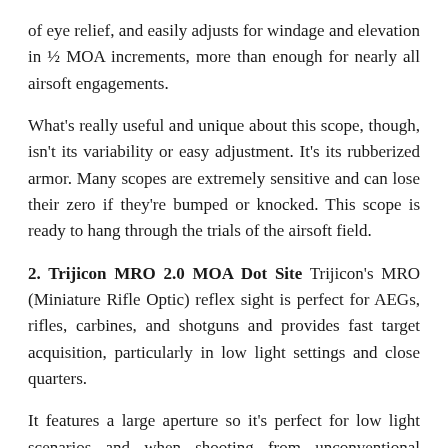of eye relief, and easily adjusts for windage and elevation in ½ MOA increments, more than enough for nearly all airsoft engagements.
What's really useful and unique about this scope, though, isn't its variability or easy adjustment. It's its rubberized armor. Many scopes are extremely sensitive and can lose their zero if they're bumped or knocked. This scope is ready to hang through the trials of the airsoft field.
2. Trijicon MRO 2.0 MOA Dot Site Trijicon's MRO (Miniature Rifle Optic) reflex sight is perfect for AEGs, rifles, carbines, and shotguns and provides fast target acquisition, particularly in low light settings and close quarters.
It features a large aperture so it's perfect for low light scenarios and when shooting from unconventional positions, enabling quick target acquisition and fast follow-up shots. It's also fully sealed, protecting it from the elements.